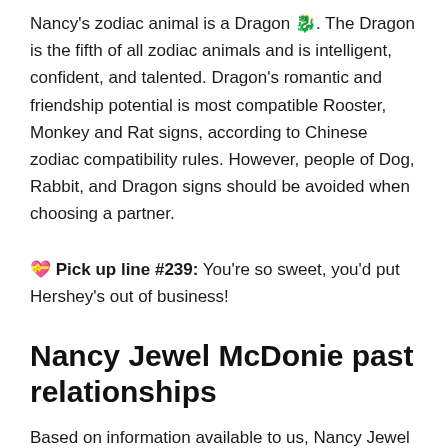Nancy's zodiac animal is a Dragon 🐉. The Dragon is the fifth of all zodiac animals and is intelligent, confident, and talented. Dragon's romantic and friendship potential is most compatible Rooster, Monkey and Rat signs, according to Chinese zodiac compatibility rules. However, people of Dog, Rabbit, and Dragon signs should be avoided when choosing a partner.
💝 Pick up line #239: You're so sweet, you'd put Hershey's out of business!
Nancy Jewel McDonie past relationships
Based on information available to us, Nancy Jewel